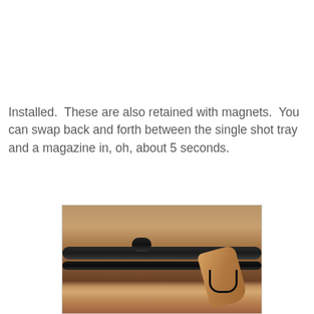Installed.  These are also retained with magnets.  You can swap back and forth between the single shot tray and a magazine in, oh, about 5 seconds.
[Figure (photo): Close-up photograph of an air rifle or pellet gun showing the barrel, wooden pistol grip, and metal hardware components, resting on a wooden surface.]